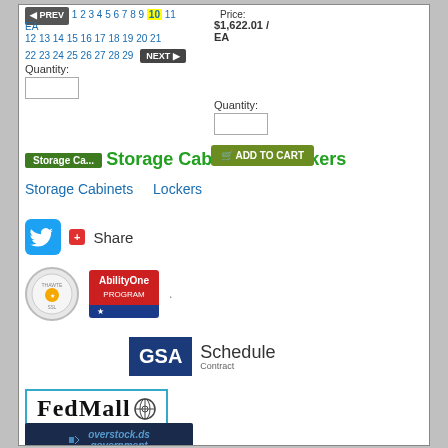Price: $1,622.01 / EA
Quantity:
Quantity:
Storage Cabinets & Lockers
Storage Cabinets   Lockers
Share
[Figure (logo): SSL security badge - Thawte SSL]
[Figure (logo): AbilityOne Program badge with blue star]
[Figure (logo): GSA Schedule Contract logo]
[Figure (logo): FedMall logo with globe icon]
[Figure (logo): Overstock Government logo on dark background]